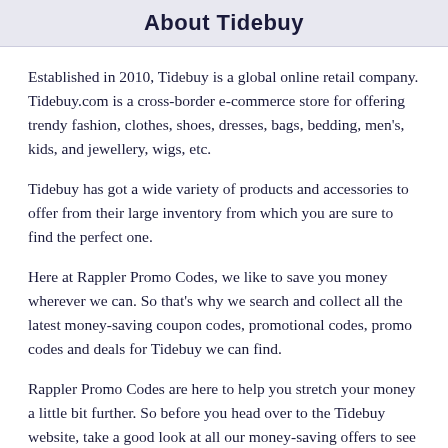About Tidebuy
Established in 2010, Tidebuy is a global online retail company. Tidebuy.com is a cross-border e-commerce store for offering trendy fashion, clothes, shoes, dresses, bags, bedding, men's, kids, and jewellery, wigs, etc.
Tidebuy has got a wide variety of products and accessories to offer from their large inventory from which you are sure to find the perfect one.
Here at Rappler Promo Codes, we like to save you money wherever we can. So that's why we search and collect all the latest money-saving coupon codes, promotional codes, promo codes and deals for Tidebuy we can find.
Rappler Promo Codes are here to help you stretch your money a little bit further. So before you head over to the Tidebuy website, take a good look at all our money-saving offers to see what you can